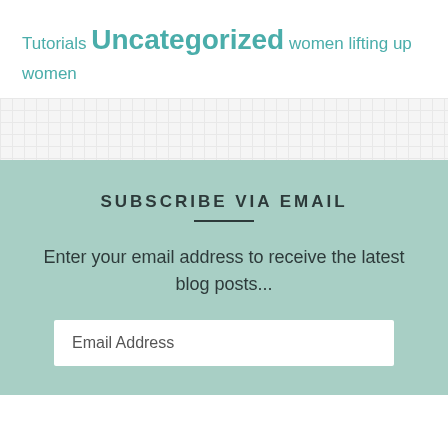Tutorials Uncategorized women lifting up women
[Figure (other): Decorative grid/dotted divider section]
SUBSCRIBE VIA EMAIL
Enter your email address to receive the latest blog posts...
Email Address